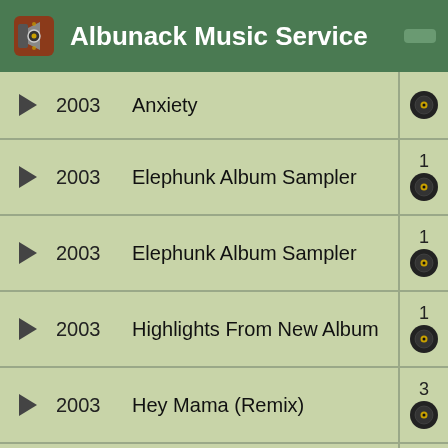Albunack Music Service
2003 | Anxiety | disc icon
2003 | Elephunk Album Sampler | 1 | disc icon
2003 | Elephunk Album Sampler | 1 | disc icon
2003 | Highlights From New Album | 1 | disc icon
2003 | Hey Mama (Remix) | 3 | disc icon
2003 | Shut Up | 1 | disc icon
2003 | Where Is The Love? | 2 | disc icon
2004 | Shut Up (Remix) | 1 | disc icon (partial)